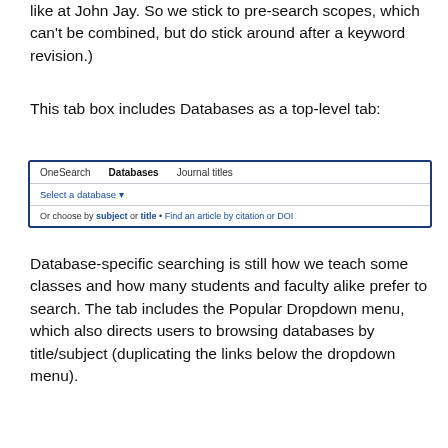like at John Jay. So we stick to pre-search scopes, which can't be combined, but do stick around after a keyword revision.)
This tab box includes Databases as a top-level tab:
[Figure (screenshot): A tab box UI showing three tabs: OneSearch, Databases (active/bold), and Journal titles. Below the tabs is a 'Select a database' dropdown and a row reading 'Or choose by subject or title • Find an article by citation or DOI'.]
Database-specific searching is still how we teach some classes and how many students and faculty alike prefer to search. The tab includes the Popular Dropdown menu, which also directs users to browsing databases by title/subject (duplicating the links below the dropdown menu).